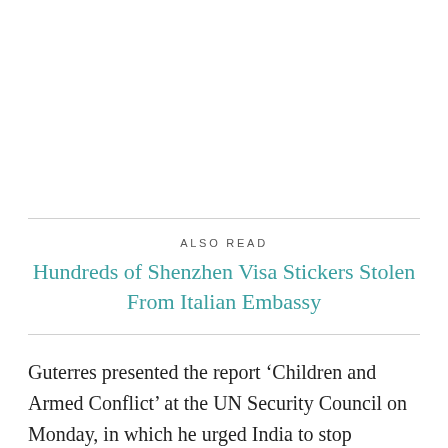ALSO READ
Hundreds of Shenzhen Visa Stickers Stolen From Italian Embassy
Guterres presented the report ‘Children and Armed Conflict’ at the UN Security Council on Monday, in which he urged India to stop pelleting children in IIOJK and to refrain from associating